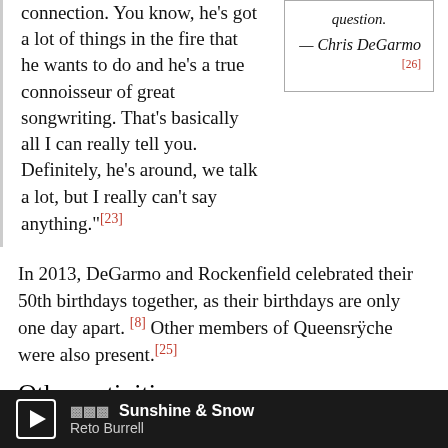connection. You know, he's got a lot of things in the fire that he wants to do and he's a true connoisseur of great songwriting. That's basically all I can really tell you. Definitely, he's around, we talk a lot, but I really can't say anything."[23]
question. — Chris DeGarmo [26]
In 2013, DeGarmo and Rockenfield celebrated their 50th birthdays together, as their birthdays are only one day apart.[8] Other members of Queensrÿche were also present.[25]
Other activities
After leaving Queensrÿche, DeGarmo began a full-time career as a professional business jet pilot. He holds an Airline Transport Pilot Licence, which he acquired during Queensrÿche's most commercially successful years.[1] as well
[Figure (other): Media player bar showing play button, sound waves icon, 'Sunshine & Snow' by Reto Burrell]